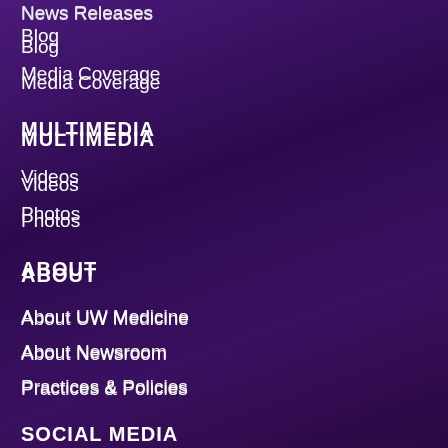News Releases
Blog
Media Coverage
MULTIMEDIA
Videos
Photos
ABOUT
About UW Medicine
About Newsroom
Practices & Policies
SOCIAL MEDIA
Twitter
Rss Feed
Other UW Medicine channels